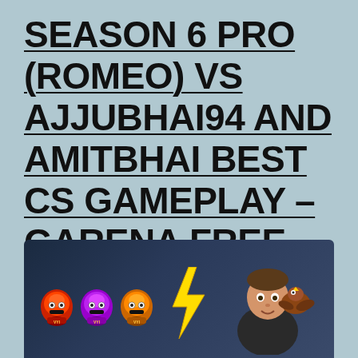SEASON 6 PRO (ROMEO) VS AJJUBHAI94 AND AMITBHAI BEST CS GAMEPLAY – GARENA FREE FIRE
[Figure (photo): Thumbnail image showing three game character helmet icons on the left, a yellow lightning bolt in the center, and a person (player) on the right with a bird/character on their shoulder, set against a dark blue game background.]